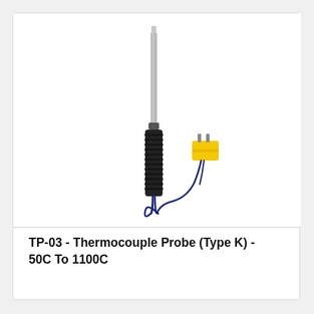[Figure (photo): A thermocouple probe (Type K) shown vertically with a long stainless steel sensing rod at the top, a black ribbed grip handle in the middle, a blue wire at the bottom, and a yellow miniature thermocouple connector (plug) shown separately to the right connected by a short blue wire.]
TP-03 - Thermocouple Probe (Type K) - 50C To 1100C